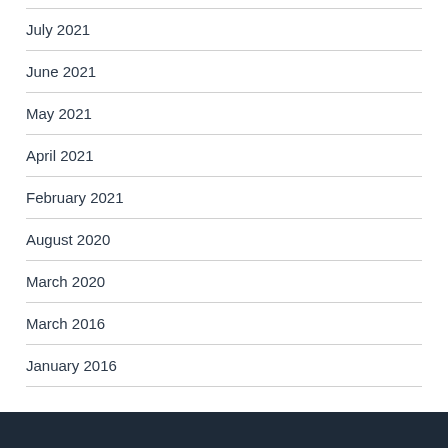July 2021
June 2021
May 2021
April 2021
February 2021
August 2020
March 2020
March 2016
January 2016